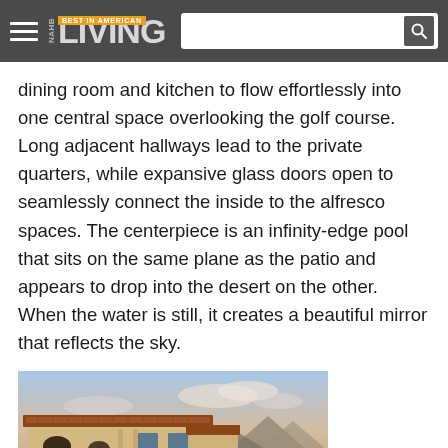NAHB LIVING — BEST IN AMERICAN
dining room and kitchen to flow effortlessly into one central space overlooking the golf course. Long adjacent hallways lead to the private quarters, while expansive glass doors open to seamlessly connect the inside to the alfresco spaces. The centerpiece is an infinity-edge pool that sits on the same plane as the patio and appears to drop into the desert on the other. When the water is still, it creates a beautiful mirror that reflects the sky.
[Figure (photo): Exterior view of a Mediterranean-style desert home with arched doorways, tan stucco walls, terra cotta roof tiles, outdoor patio furniture, desert landscape and mountains in the background at dusk.]
For the